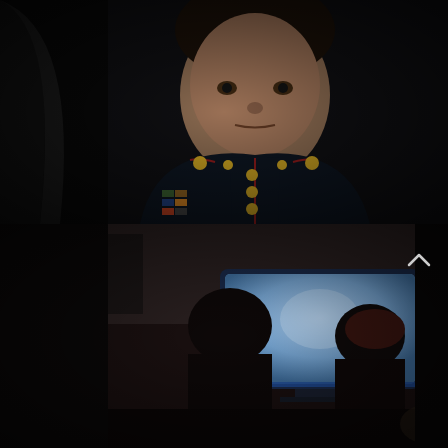[Figure (photo): Top photo: A young man in formal US Marine Corps dress uniform (dark blue jacket with red trim, gold buttons, medals/ribbons on chest) looking directly at the camera in a dark, dramatic lighting setting.]
[Figure (photo): Bottom photo: Dark scene showing two silhouetted figures viewed from behind, sitting in front of a glowing blue computer/TV monitor screen in a dimly lit room.]